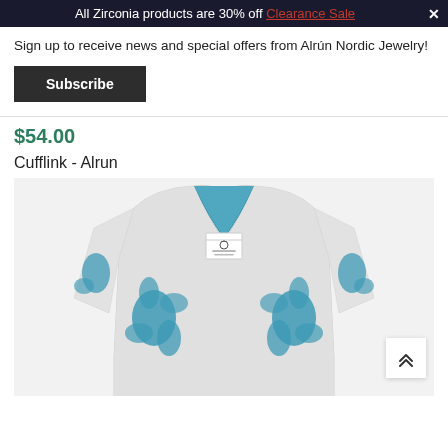All Zirconia products are 30% off Clearance Sale
Sign up to receive news and special offers from Alrún Nordic Jewelry!
Subscribe
$54.00
Cufflink - Alrun
[Figure (photo): A teal and white patterned knit cardigan with floral/leaf motifs, shown from the front with a visible brand label at the neckline, displayed against a light grey background.]